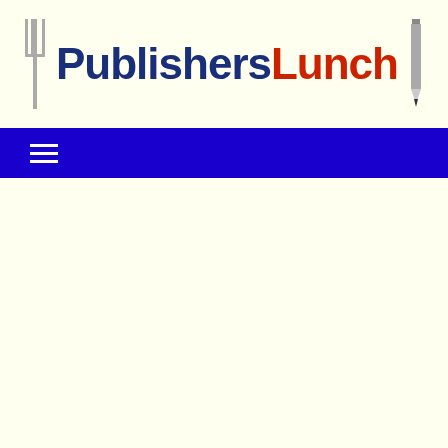[Figure (logo): PublishersLunch logo with fork icon on left, pencil icon on right, 'Publishers' in dark navy blue bold text and 'Lunch' in dark red bold text]
[Figure (other): Dark blue navigation bar with hamburger menu icon (three horizontal white lines) on the left side]